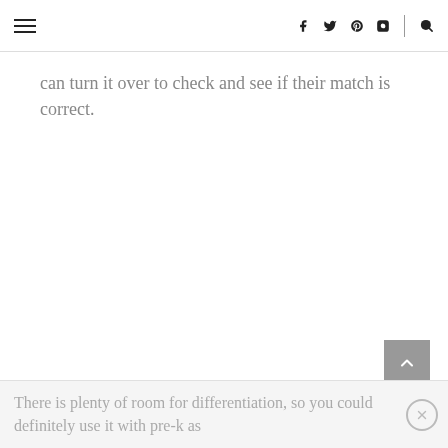≡  f  (twitter)  (pinterest)  (instagram)  |  (search)
can turn it over to check and see if their match is correct.
There is plenty of room for differentiation, so you could definitely use it with pre-k as